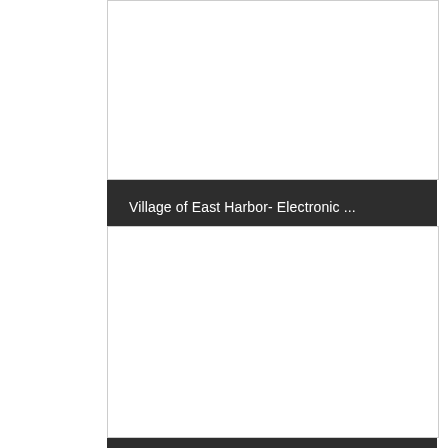[Figure (other): White document preview image with border for Village of East Harbor Electronic document]
Village of East Harbor- Electronic ...
[Figure (other): White document preview image with border for Detroit Sportsmens Congress Electronic document]
Detroit Sportsmens Congress- Electr...